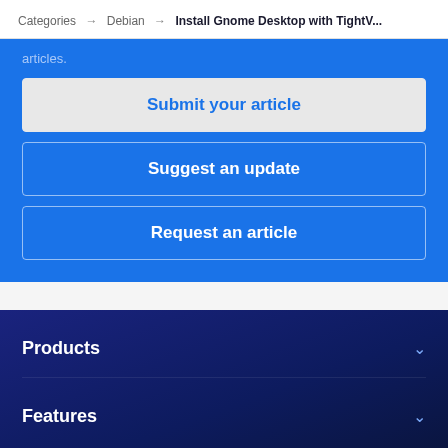Categories → Debian → Install Gnome Desktop with TightV...
articles.
Submit your article
Suggest an update
Request an article
Products
Features